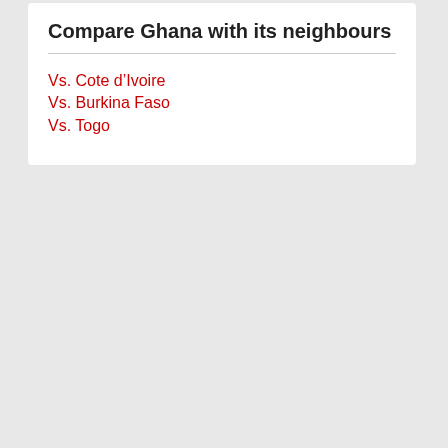Compare Ghana with its neighbours
Vs. Cote d’Ivoire
Vs. Burkina Faso
Vs. Togo